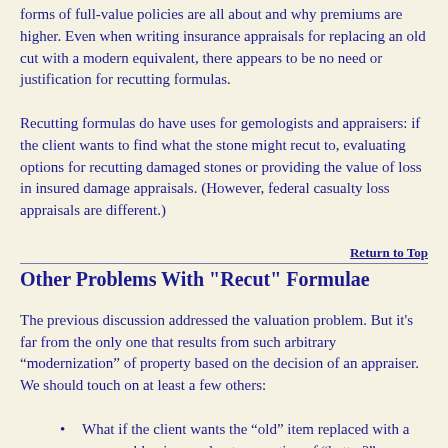forms of full-value policies are all about and why premiums are higher. Even when writing insurance appraisals for replacing an old cut with a modern equivalent, there appears to be no need or justification for recutting formulas.
Recutting formulas do have uses for gemologists and appraisers: if the client wants to find what the stone might recut to, evaluating options for recutting damaged stones or providing the value of loss in insured damage appraisals. (However, federal casualty loss appraisals are different.)
Return to Top
Other Problems With "Recut" Formulae
The previous discussion addressed the valuation problem. But it's far from the only one that results from such arbitrary “modernization” of property based on the decision of an appraiser. We should touch on at least a few others:
What if the client wants the "old" item replaced with a comparable piece and not our notion of “better?”